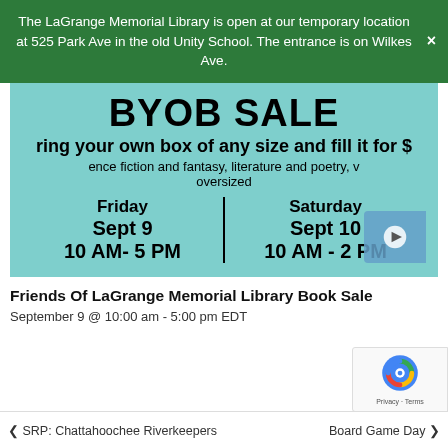The LaGrange Memorial Library is open at our temporary location at 525 Park Ave in the old Unity School. The entrance is on Wilkes Ave.
[Figure (other): BYOB Sale flyer on teal/aqua background. Shows 'BYOB SALE', 'Bring your own box of any size and fill it for $...', partial text 'ence fiction and fantasy, literature and poetry, v... oversized'. Schedule: Friday Sept 9 10 AM- 5 PM | Saturday Sept 10 10 AM - 2 PM.]
Friends Of LaGrange Memorial Library Book Sale
September 9 @ 10:00 am - 5:00 pm EDT
< SRP: Chattahoochee Riverkeepers   Board Game Day >